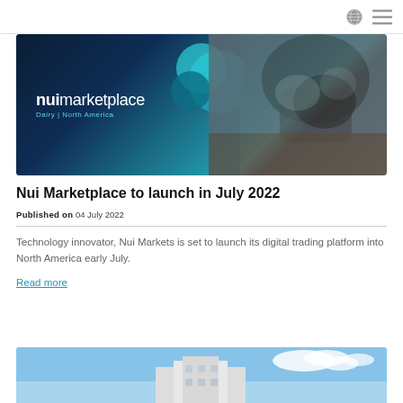[Figure (photo): Navigation bar with globe icon and hamburger menu icon on the right]
[Figure (photo): Banner image showing Nui Marketplace logo with 'Dairy | North America' tagline on dark blue background with teal accents, and a close-up of a cow on the right side]
Nui Marketplace to launch in July 2022
Published on 04 July 2022
Technology innovator, Nui Markets is set to launch its digital trading platform into North America early July.
Read more
[Figure (photo): Partial view of a building exterior against a blue sky with clouds]